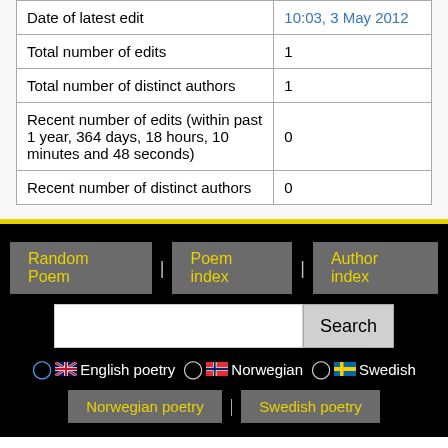| Date of latest edit | 10:03, 3 May 2012 |
| Total number of edits | 1 |
| Total number of distinct authors | 1 |
| Recent number of edits (within past 1 year, 364 days, 18 hours, 10 minutes and 48 seconds) | 0 |
| Recent number of distinct authors | 0 |
Random Poem | Poem index | Author index
Search
English poetry  Norwegian  Swedish
Norwegian poetry | Swedish poetry